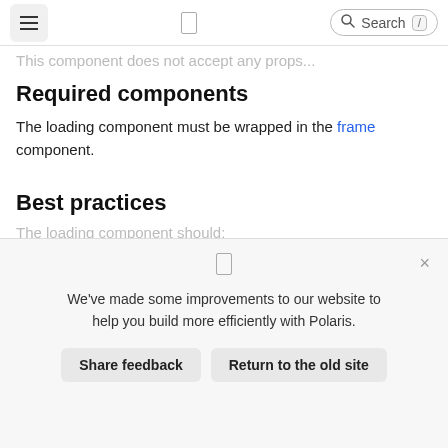This component does not accept any props...
Required components
The loading component must be wrapped in the frame component.
Best practices
The loading component should:
We've made some improvements to our website to help you build more efficiently with Polaris.
Share feedback   Return to the old site